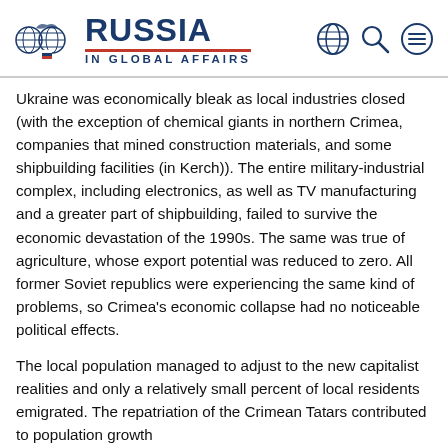RUSSIA IN GLOBAL AFFAIRS
Ukraine was economically bleak as local industries closed (with the exception of chemical giants in northern Crimea, companies that mined construction materials, and some shipbuilding facilities (in Kerch)). The entire military-industrial complex, including electronics, as well as TV manufacturing and a greater part of shipbuilding, failed to survive the economic devastation of the 1990s. The same was true of agriculture, whose export potential was reduced to zero. All former Soviet republics were experiencing the same kind of problems, so Crimea's economic collapse had no noticeable political effects.
The local population managed to adjust to the new capitalist realities and only a relatively small percent of local residents emigrated. The repatriation of the Crimean Tatars contributed to population growth